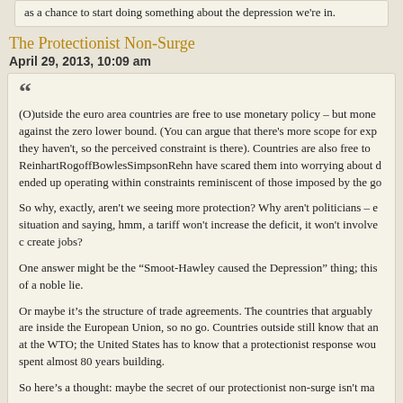as a chance to start doing something about the depression we're in.
The Protectionist Non-Surge
April 29, 2013, 10:09 am
(O)utside the euro area countries are free to use monetary policy – but mone against the zero lower bound. (You can argue that there's more scope for exp they haven't, so the perceived constraint is there). Countries are also free to ReinhartRogoffBowlesSimpsonRehn have scared them into worrying about d ended up operating within constraints reminiscent of those imposed by the go

So why, exactly, aren't we seeing more protection? Why aren't politicians – e situation and saying, hmm, a tariff won't increase the deficit, it won't involve c create jobs?

One answer might be the “Smoot-Hawley caused the Depression” thing; this of a noble lie.

Or maybe it’s the structure of trade agreements. The countries that arguably are inside the European Union, so no go. Countries outside still know that an at the WTO; the United States has to know that a protectionist response wou spent almost 80 years building.

So here’s a thought: maybe the secret of our protectionist non-surge isn't ma
Not Everything Is Political